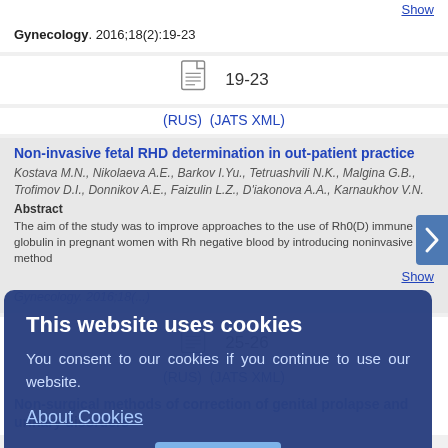Show
Gynecology. 2016;18(2):19-23
19-23
(RUS) (JATS XML)
Non-invasive fetal RHD determination in out-patient practice
Kostava M.N., Nikolaeva A.E., Barkov I.Yu., Tetruashvili N.K., Malgina G.B., Trofimov D.I., Donnikov A.E., Faizulin L.Z., D'iakonova A.A., Karnaukhov V.N.
Abstract
The aim of the study was to improve approaches to the use of Rh0(D) immune globulin in pregnant women with Rh negative blood by introducing noninvasive method
Show
Gynecology. 2016;18(...)
25-26
(RUS) (JATS XML)
Non-surgical methods of correction of genital prolapse and urinary disorders
This website uses cookies
You consent to our cookies if you continue to use our website.
About Cookies
OK